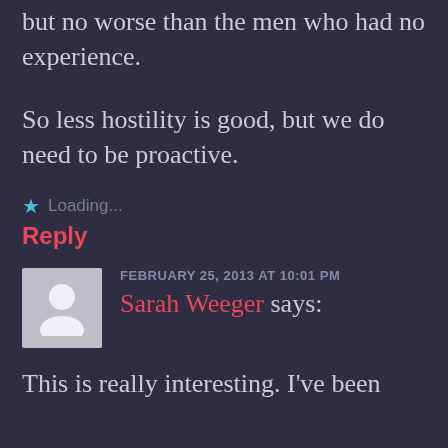but no worse than the men who had no experience.
So less hostility is good, but we do need to be proactive.
★ Loading...
Reply
FEBRUARY 25, 2013 AT 10:01 PM
Sarah Weeger says:
This is really interesting. I've been